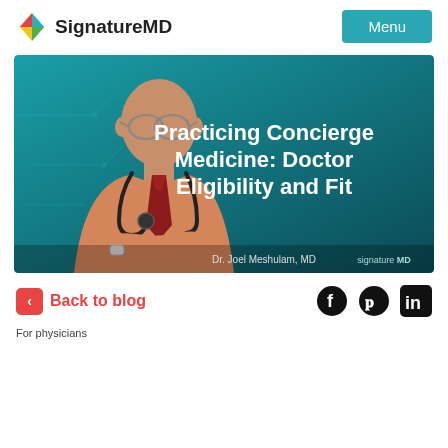[Figure (logo): SignatureMD logo with colorful diamond/star icon and text 'SignatureMD']
[Figure (photo): Video thumbnail showing Dr. Joel Meshulam, MD in a salmon-colored shirt with stethoscope, against teal background. Text overlay reads 'Practicing Concierge Medicine: Doctor Eligibility and Fit'. Bottom shows 'Dr. Joel Meshulam, MD' and 'signature MD' branding.]
Back to blog
For physicians